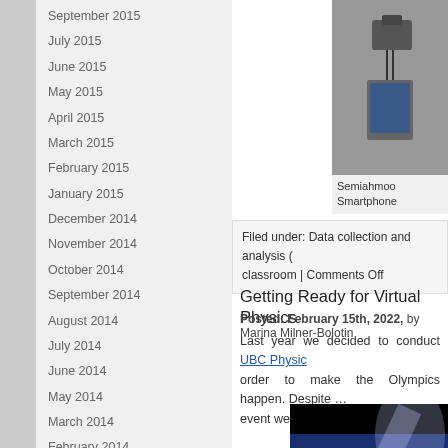September 2015
July 2015
June 2015
May 2015
April 2015
March 2015
February 2015
January 2015
December 2014
November 2014
October 2014
September 2014
August 2014
July 2014
June 2014
May 2014
March 2014
February 2014
January 2014
November 2013
October 2013
September 2013
August 2013
July 2013
[Figure (photo): Close-up photo of a small robotic or electronic device component]
Semiahmoo Smartphone
Filed under: Data collection and analysis ( classroom | Comments Off
Getting Ready for Virtual Physics
Posted: February 15th, 2022, by Marina Milner-Bolotin
Last year we decided to conduct UBC Physic… order to make the Olympics happen. Despite … event went very well.
[Figure (photo): 2021 UBC Physics Olympics promotional image with spotlight on dark/blue background]